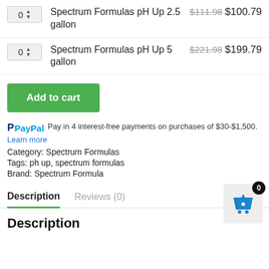Spectrum Formulas pH Up 2.5 gallon — $111.98 $100.79
Spectrum Formulas pH Up 5 gallon — $221.98 $199.79
Add to cart
PayPal Pay in 4 interest-free payments on purchases of $30-$1,500. Learn more
Category: Spectrum Formulas
Tags: ph up, spectrum formulas
Brand: Spectrum Formula
Description  Reviews (0)
Description